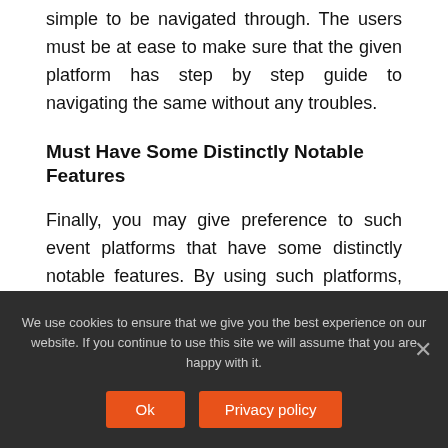simple to be navigated through. The users must be at ease to make sure that the given platform has step by step guide to navigating the same without any troubles.
Must Have Some Distinctly Notable Features
Finally, you may give preference to such event platforms that have some distinctly notable features. By using such platforms, you may ensure the success of your Virtual Events and that too in an effortless manner.
We use cookies to ensure that we give you the best experience on our website. If you continue to use this site we will assume that you are happy with it.